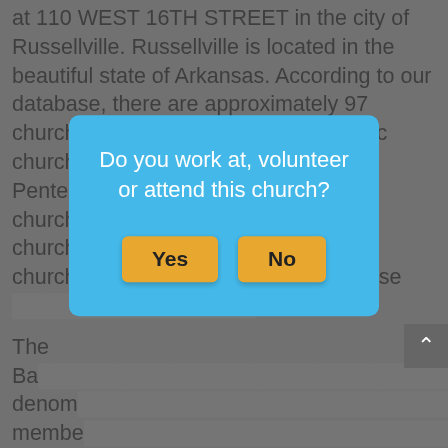at 110 WEST 16TH STREET in the city of Russellville. Russellville is located in the beautiful state of Arkansas. According to our database, there are approximately 97 churches in Russellville, with 2 Catholic churches, 25 Baptist churches, 4 Pentecostal churches, 3 Methodist churches, and 63 other denomination churches. If you are looking for a new church or just visiting Russellville, please [find a church]
The Baptist church denomination [text obscured by modal] members. [text obscured] seventy-three million Baptists live in America. The origins of Baptist churches can be traced back to John Smyth and the Separatist Movement in 1608 that began in England. Something that makes the Baptist church's beliefs unique is that they believe in the baptism of adult believers instead of infant baptism. Baptist denominations follow a congregational church
[Figure (other): Modal dialog box with blue background asking 'Do you work at, volunteer or attend this church?' with two orange buttons labeled 'Yes' and 'No']